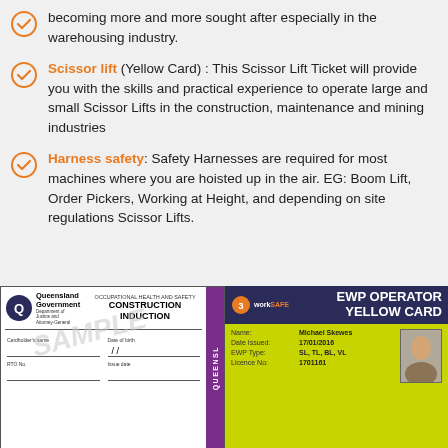becoming more and more sought after especially in the warehousing industry.
Scissor lift (Yellow Card) : This Scissor Lift Ticket will provide you with the skills and practical experience to operate large and small Scissor Lifts in the construction, maintenance and mining industries
Harness safety: Safety Harnesses are required for most machines where you are hoisted up in the air. EG: Boom Lift, Order Pickers, Working at Height, and depending on site regulations Scissor Lifts.
[Figure (photo): Queensland Government Occupational Health and Safety Construction Induction card (white card) with QUEENSL side bar in purple]
[Figure (photo): workSAFE EWP Operator Yellow Card with Name: Michael Skewes, Date Issued: 17/01/2016, EWP Type: SL, TL, BL, VL, Licence No: 1701161]